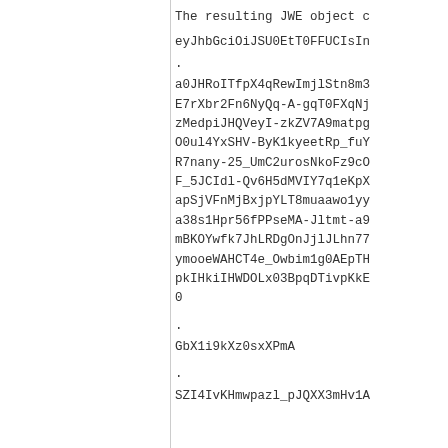The resulting JWE object c
eyJhbGciOiJSU0EtT0FFUCIsIn
.
a0JHRoITfpX4qRewImjlStn8m3
E7rXbr2Fn6NyQq-A-gqT0FXqNj
zMedpiJHQVeyI-zkZV7A9matpg
O0ul4YxSHV-ByK1kyeetRp_fuY
R7nany-25_UmC2urosNkoFz9cO
F_5JCIdl-Qv6H5dMVIY7q1eKpX
apSjVFnMjBxjpYLT8muaawo1yy
a38s1Hpr56fPPseMA-Jltmt-a9
mBKOYwfk7JhLRDgOnJjlJLhn77
ymooeWAHCT4e_Owbim1g0AEpTH
pkIHkiIHWDOLx03BpqDTivpKkE
0
.
GbX1i9kXz0sxXPmA
.
SZI4IvKHmwpazl_pJQXX3mHv1A